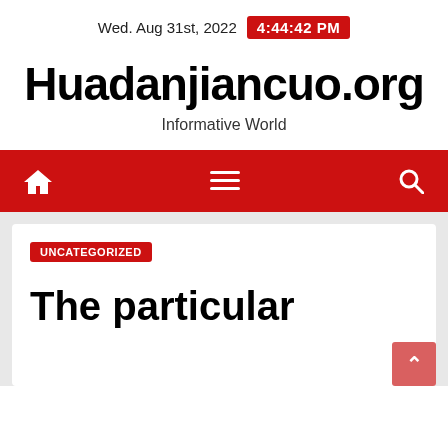Wed. Aug 31st, 2022  4:44:42 PM
Huadanjiancuo.org
Informative World
[Figure (other): Navigation bar with home icon, hamburger menu, and search icon on red background]
UNCATEGORIZED
The particular